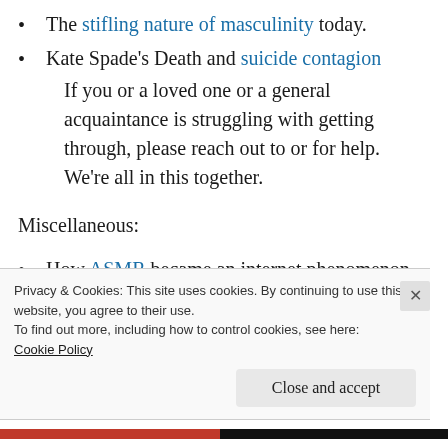The stifling nature of masculinity today.
Kate Spade's Death and suicide contagion If you or a loved one or a general acquaintance is struggling with getting through, please reach out to or for help. We're all in this together.
Miscellaneous:
How ASMR became an internet phenomenon.
Privacy & Cookies: This site uses cookies. By continuing to use this website, you agree to their use.
To find out more, including how to control cookies, see here: Cookie Policy